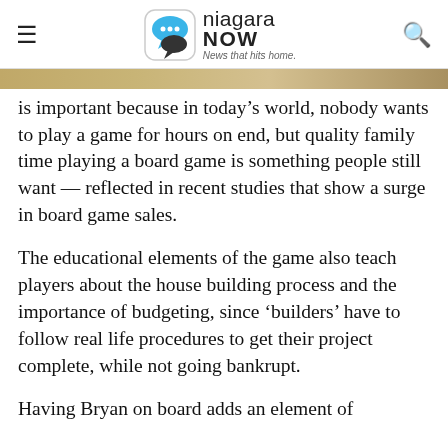niagara NOW — News that hits home.
[Figure (photo): Partial image strip visible at top of content area, appears to be a food or board game related photo cropped to a thin horizontal band.]
is important because in today's world, nobody wants to play a game for hours on end, but quality family time playing a board game is something people still want — reflected in recent studies that show a surge in board game sales.
The educational elements of the game also teach players about the house building process and the importance of budgeting, since 'builders' have to follow real life procedures to get their project complete, while not going bankrupt.
Having Bryan on board adds an element of credibility to the game, which the developer li…